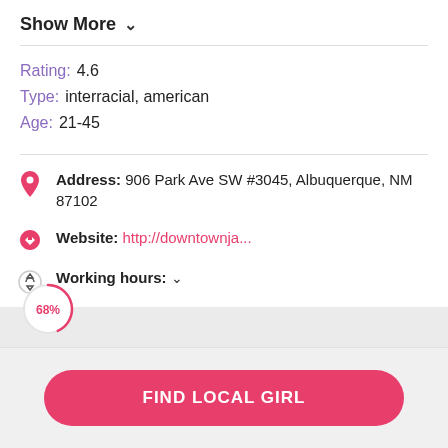Show More ∨
Rating: 4.6
Type: interracial, american
Age: 21-45
Address: 906 Park Ave SW #3045, Albuquerque, NM 87102
Website: http://downtownja...
Working hours: ∨
68%
FIND LOCAL GIRL